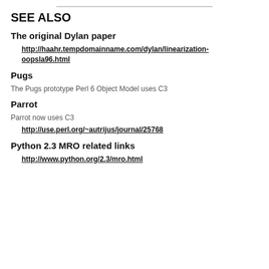SEE ALSO
The original Dylan paper
http://haahr.tempdomainname.com/dylan/linearization-oopsla96.html
Pugs
The Pugs prototype Perl 6 Object Model uses C3
Parrot
Parrot now uses C3
http://use.perl.org/~autrijus/journal/25768
Python 2.3 MRO related links
http://www.python.org/2.3/mro.html